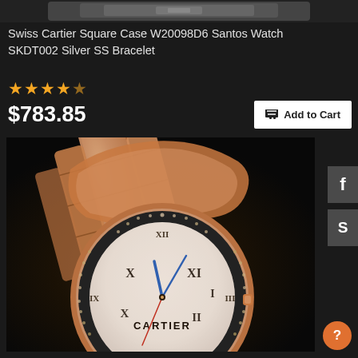[Figure (photo): Top portion of a watch product listing page showing cropped watch image at top]
Swiss Cartier Square Case W20098D6 Santos Watch SKDT002 Silver SS Bracelet
★★★★★ (4.5 stars rating)
$783.85
Add to Cart
[Figure (photo): Rose gold Cartier Ballon Bleu watch with diamond-encrusted bezel, Roman numeral dial, and rose gold bracelet, photographed at an angle on dark background]
f (Facebook social share button)
S (Skype social share button)
? (Help/chat button)